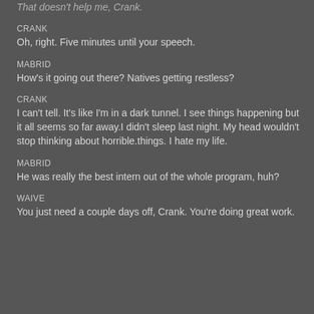That doesn't help me, Crank.
CRANK
Oh, right. Five minutes until your speech.
MABRID
How's it going out there? Natives getting restless?
CRANK
I can't tell. It's like I'm in a dark tunnel. I see things happening but it all seems so far away.I didn't sleep last night. My head wouldn't stop thinking about horrible.things. I hate my life.
MABRID
He was really the best intern out of the whole program, huh?
WAIVE
You just need a couple days off, Crank. You're doing great work.